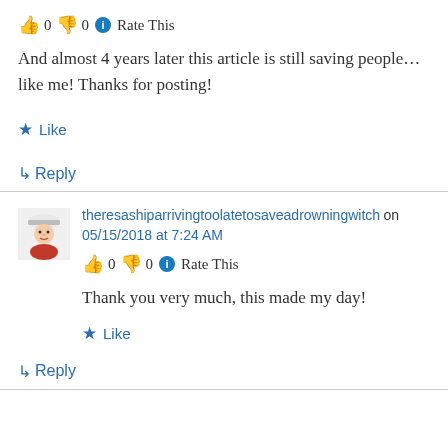👍 0 👎 0 ℹ Rate This
And almost 4 years later this article is still saving people…like me! Thanks for posting!
★ Like
↳ Reply
theresashiparrivingtoolatetosaveadrowningwitch on 05/15/2018 at 7:24 AM
👍 0 👎 0 ℹ Rate This
Thank you very much, this made my day!
★ Like
↳ Reply